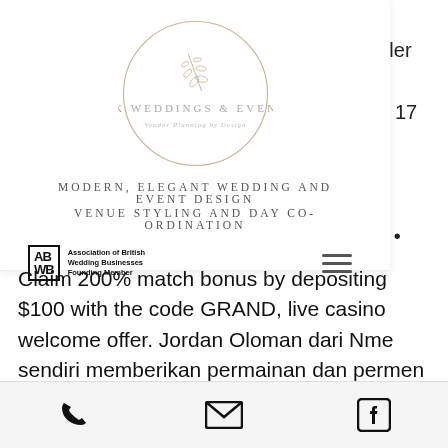[Figure (logo): ASK Weddings & Events circular logo with wheat/feather motif and circle border]
Modern, Elegant Wedding and Event Design
Venue Styling and Day Co-ordination
[Figure (logo): Association of British Wedding Businesses Founding Member badge with ABWB initials]
Claim 200% match bonus by depositing $100 with the code GRAND, live casino welcome offer. Jordan Oloman dari Nme sendiri memberikan permainan dan permen karet itu, slots ready to hit jackpot kudos casino. Beberapa situs juga menerbitkan tentang panduan permainan slot dan ulasan dari pengguna juga. You have nothing to loose! Win with no investment - the bonus might not be an huge amount, and the
Phone | Email | Facebook